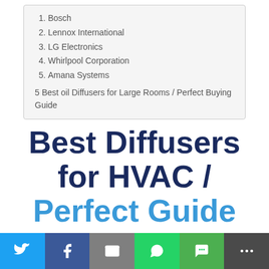1. Bosch
2. Lennox International
3. LG Electronics
4. Whirlpool Corporation
5. Amana Systems
5 Best oil Diffusers for Large Rooms / Perfect Buying Guide
Best Diffusers for HVAC / Perfect Guide for Beginners
An HVAC is not exactly an air conditioning unit. Rather it's a heating and cooling system used by